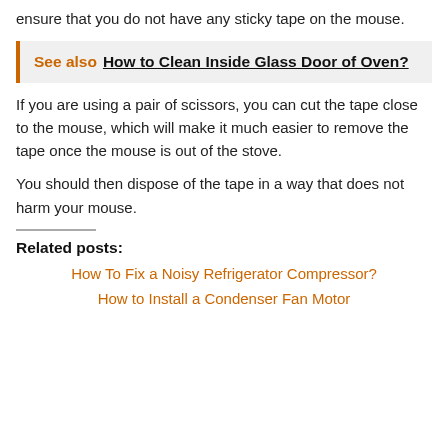ensure that you do not have any sticky tape on the mouse.
See also  How to Clean Inside Glass Door of Oven?
If you are using a pair of scissors, you can cut the tape close to the mouse, which will make it much easier to remove the tape once the mouse is out of the stove.
You should then dispose of the tape in a way that does not harm your mouse.
Related posts:
How To Fix a Noisy Refrigerator Compressor?
How to Install a Condenser Fan Motor